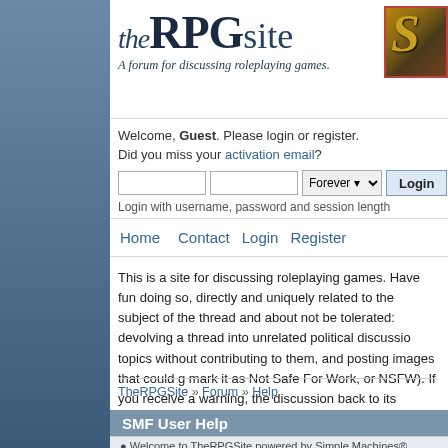[Figure (logo): theRPGsite logo — stylized italic 'the' followed by large bold 'RPGsite' text in dark navy blue, with tagline 'A forum for discussing roleplaying games.']
[Figure (illustration): Decorative medieval illuminated letter 'S' on ornate gold and brown background with red border, top-right corner]
Welcome, Guest. Please login or register. Did you miss your activation email?
Login with username, password and session length
Home   Contact   Login   Register
This is a site for discussing roleplaying games. Have fun doing so, directly and uniquely related to the subject of the thread and about not be tolerated: devolving a thread into unrelated political discussion topics without contributing to them, and posting images that could g mark it as Not Safe For Work, or NSFW). If you receive a warning, the discussion back to its original RPG-related theme.
TheRPGSite » Forum » Help
SMF User Help
Welcome to TheRPGSite powered by Simple Machines® Forum (S...